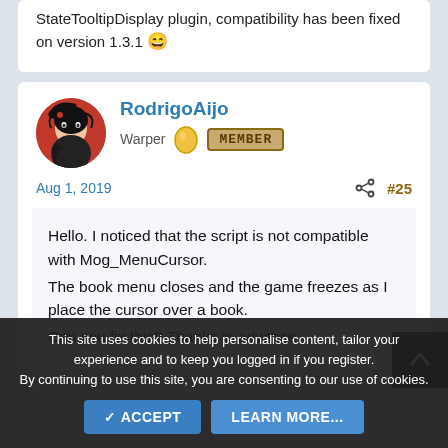StateTooltipDisplay plugin, compatibility has been fixed on version 1.3.1 😄
RodrigoAijo
Warper
Aug 1, 2019
#25
Hello. I noticed that the script is not compatible with Mog_MenuCursor.
The book menu closes and the game freezes as I place the cursor over a book.
Can you fix this? Thanks in advance.
This site uses cookies to help personalise content, tailor your experience and to keep you logged in if you register. By continuing to use this site, you are consenting to our use of cookies.
✓ ACCEPT
LEARN MORE...